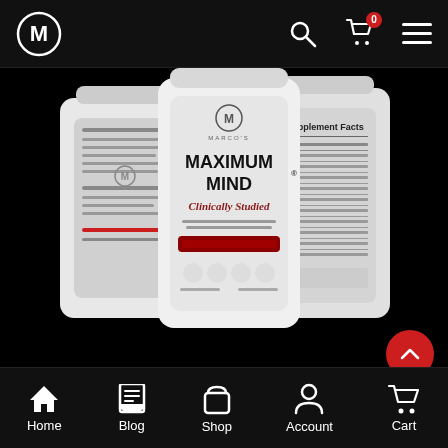[Figure (screenshot): Top navigation bar with Marco's Premium logo (M in circle), search icon, shopping cart with 0 badge, and hamburger menu]
[Figure (photo): Three white supplement bottles of Maximum Mind - Clinically Studied by Marco's Premium, showing front label, back label, and supplement facts panel on black background]
MAXIMUM MIND
Clinically Studied
[Figure (screenshot): Bottom navigation bar with Home, Blog, Shop, Account, Cart icons in white on black background]